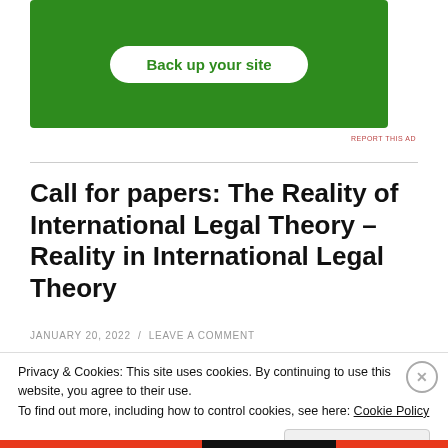[Figure (illustration): Green advertisement banner with white rounded button labeled 'Back up your site']
REPORT THIS AD
Call for papers: The Reality of International Legal Theory – Reality in International Legal Theory
JANUARY 20, 2022  /  LEAVE A COMMENT
Privacy & Cookies: This site uses cookies. By continuing to use this website, you agree to their use.
To find out more, including how to control cookies, see here: Cookie Policy
Close and accept